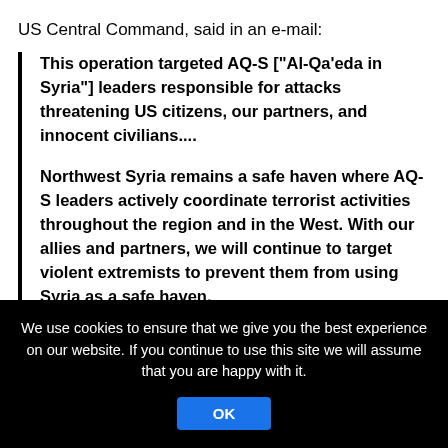US Central Command, said in an e-mail:
This operation targeted AQ-S ["Al-Qa'eda in Syria"] leaders responsible for attacks threatening US citizens, our partners, and innocent civilians.... Northwest Syria remains a safe haven where AQ-S leaders actively coordinate terrorist activities throughout the region and in the West. With our allies and partners, we will continue to target violent extremists to prevent them from using Syria as a safe haven.
We use cookies to ensure that we give you the best experience on our website. If you continue to use this site we will assume that you are happy with it.